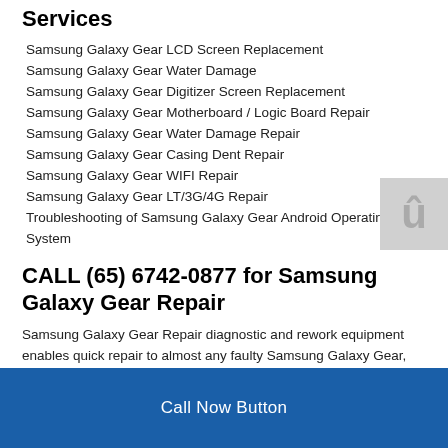Services
Samsung Galaxy Gear LCD Screen Replacement
Samsung Galaxy Gear Water Damage
Samsung Galaxy Gear Digitizer Screen Replacement
Samsung Galaxy Gear Motherboard / Logic Board Repair
Samsung Galaxy Gear Water Damage Repair
Samsung Galaxy Gear Casing Dent Repair
Samsung Galaxy Gear WIFI Repair
Samsung Galaxy Gear LT/3G/4G Repair
Troubleshooting of Samsung Galaxy Gear Android Operating System
CALL (65) 6742-0877 for Samsung Galaxy Gear Repair
Samsung Galaxy Gear Repair diagnostic and rework equipment enables quick repair to almost any faulty Samsung Galaxy Gear, within the shortest possible time, and hence
Call Now Button